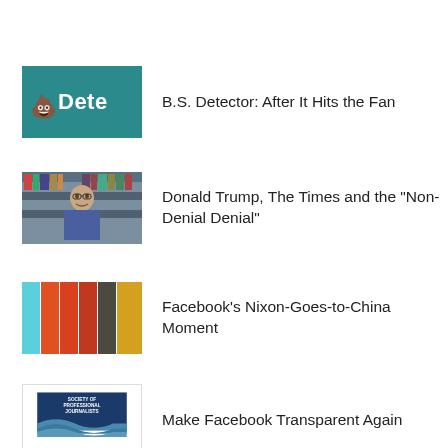B.S. Detector: After It Hits the Fan
Donald Trump, The Times and the "Non-Denial Denial"
Facebook's Nixon-Goes-to-China Moment
Make Facebook Transparent Again